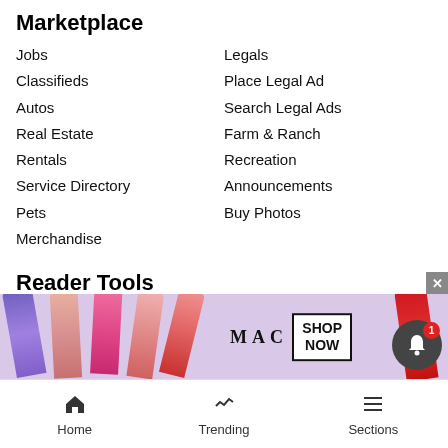Marketplace
Jobs
Legals
Classifieds
Place Legal Ad
Autos
Search Legal Ads
Real Estate
Farm & Ranch
Rentals
Recreation
Service Directory
Announcements
Pets
Buy Photos
Merchandise
Reader Tools
Contact Us
Magazines
Become a Carrier
Vail Daily E-Edition
Submissions
Daily Weekly E-Edition
Advertise
Eagle Valley E-Edition
Submit an Obituary
Newsletters
Submit a Request to Update a...
Cookie List
Crime St...
Commen...
[Figure (screenshot): MAC Cosmetics advertisement banner with lipsticks on left and right, MAC logo in center, SHOP NOW button]
Home | Trending | Sections